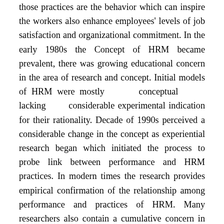those practices are the behavior which can inspire the workers also enhance employees' levels of job satisfaction and organizational commitment. In the early 1980s the Concept of HRM became prevalent, there was growing educational concern in the area of research and concept. Initial models of HRM were mostly conceptual lacking considerable experimental indication for their rationality. Decade of 1990s perceived a considerable change in the concept as experiential research began which initiated the process to probe link between performance and HRM practices. In modern times the research provides empirical confirmation of the relationship among performance and practices of HRM. Many researchers also contain a cumulative concern in the notion of HRM practices as well as the strongest connection among organizational performance and HRM practices. Basically, the concept of HRM surfaced in the 1980s from outdated